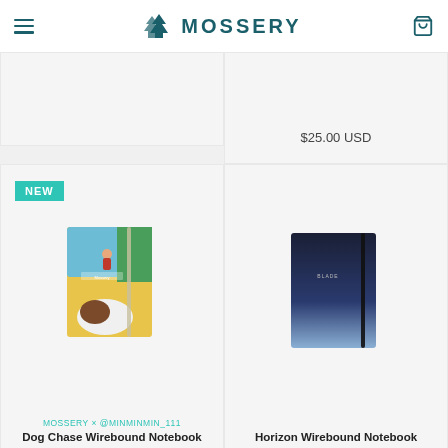MOSSERY
[Figure (screenshot): Top-left product card, partially visible, light gray background]
[Figure (screenshot): Top-right product card showing price $25.00 USD, partially visible]
[Figure (photo): Dog Chase Wirebound Notebook - colorful illustration of dog and child on blue/yellow background with MOSSERY x @MINMINMIN_111 collaboration label]
MOSSERY × @MINMINMIN_111
Dog Chase Wirebound Notebook
$25.00 USD
[Figure (photo): Horizon Wirebound Notebook - dark navy to light blue gradient cover with elastic band]
Horizon Wirebound Notebook
$25.00 USD